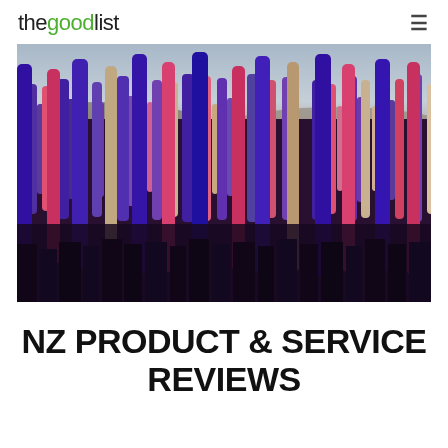thegoodlist
[Figure (photo): Field of colorful lupine flowers — purple, pink, and white — under a cloudy sky. New Zealand landscape.]
NZ PRODUCT & SERVICE REVIEWS